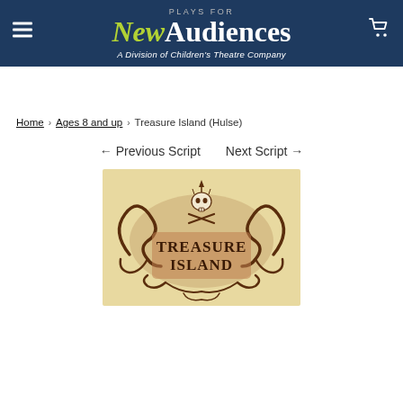PLAYS FOR New Audiences — A Division of Children's Theatre Company
Home › Ages 8 and up › Treasure Island (Hulse)
← Previous Script   Next Script →
[Figure (illustration): Treasure Island book cover illustration with ornate scroll/pirate design, skull and crossbones, on a tan/beige background]